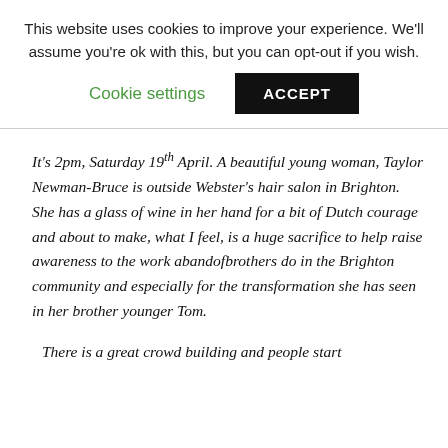This website uses cookies to improve your experience. We'll assume you're ok with this, but you can opt-out if you wish.
Cookie settings   ACCEPT
It's 2pm, Saturday 19th April. A beautiful young woman, Taylor Newman-Bruce is outside Webster's hair salon in Brighton. She has a glass of wine in her hand for a bit of Dutch courage and about to make, what I feel, is a huge sacrifice to help raise awareness to the work abandofbrothers do in the Brighton community and especially for the transformation she has seen in her brother younger Tom.
There is a great crowd building and people start